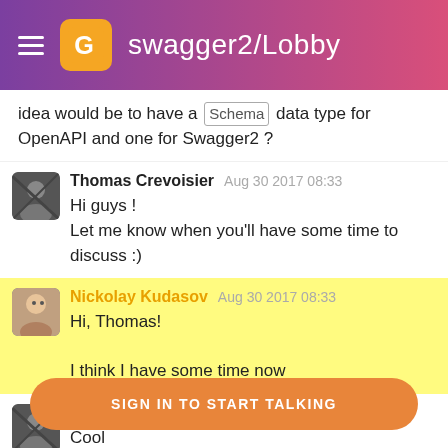swagger2/Lobby
idea would be to have a `Schema` data type for OpenAPI and one for Swagger2 ?
Thomas Crevoisier  Aug 30 2017 08:33
Hi guys !
Let me know when you'll have some time to discuss :)
Nickolay Kudasov  Aug 30 2017 08:33
Hi, Thomas!
I think I have some time now
Thomas Crevoisier  Aug 30 2017 08:34
Cool
Nickolay Kudasov  Aug 30 2017 08:34
But you can always just ask and we'll respond when we
SIGN IN TO START TALKING